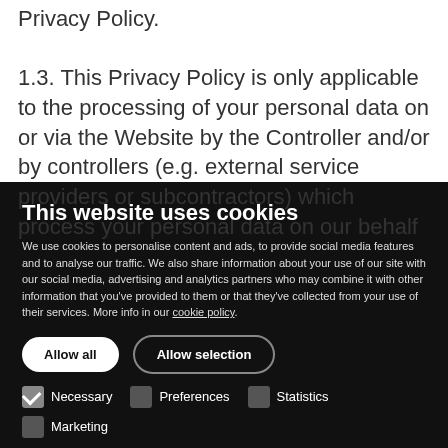Privacy Policy.
1.3. This Privacy Policy is only applicable to the processing of your personal data on or via the Website by the Controller and/or by controllers (e.g. external service providers or subcontractors) which process your personal data on our behalf
This website uses cookies
We use cookies to personalise content and ads, to provide social media features and to analyse our traffic. We also share information about your use of our site with our social media, advertising and analytics partners who may combine it with other information that you've provided to them or that they've collected from your use of their services. More info in our cookie policy.
Allow all
Allow selection
Necessary
Preferences
Statistics
Marketing